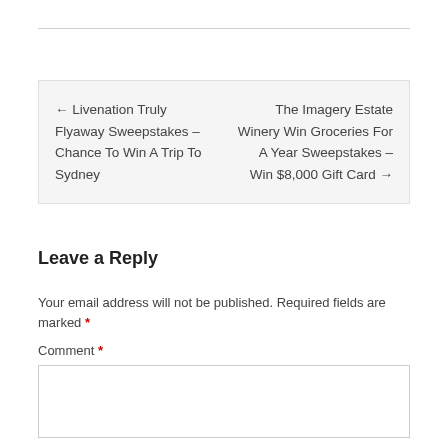← Livenation Truly Flyaway Sweepstakes – Chance To Win A Trip To Sydney
The Imagery Estate Winery Win Groceries For A Year Sweepstakes – Win $8,000 Gift Card →
Leave a Reply
Your email address will not be published. Required fields are marked *
Comment *